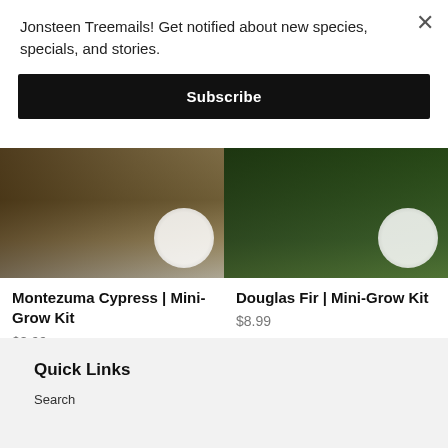Jonsteen Treemails! Get notified about new species, specials, and stories.
Subscribe
[Figure (photo): Photo of a large Montezuma Cypress tree trunk with soil at base, with a circular white badge overlay in corner]
Montezuma Cypress | Mini-Grow Kit
$8.99
[Figure (photo): Photo of Douglas Fir foliage with a circular white badge overlay in corner]
Douglas Fir | Mini-Grow Kit
$8.99
Quick Links
Search